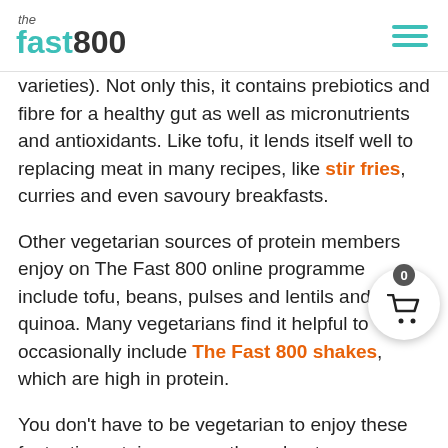the fast800
varieties). Not only this, it contains prebiotics and fibre for a healthy gut as well as micronutrients and antioxidants. Like tofu, it lends itself well to replacing meat in many recipes, like stir fries, curries and even savoury breakfasts.
Other vegetarian sources of protein members enjoy on The Fast 800 online programme include tofu, beans, pulses and lentils and quinoa. Many vegetarians find it helpful to occasionally include The Fast 800 shakes, which are high in protein.
You don’t have to be vegetarian to enjoy these fantastic protein sources throughout